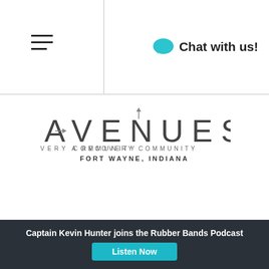Chat with us!
[Figure (logo): Avenues A Recovery Community Fort Wayne Indiana logo]
Home
Blog
Contact
[Figure (illustration): Three award/certification badge seals]
Captain Kevin Hunter joins the Rubber Bands Podcast
Listen Now